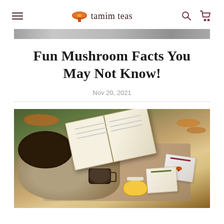tamim teas
Fun Mushroom Facts You May Not Know!
Nov 20, 2021
[Figure (photo): Overhead view of a woman sitting outdoors on a mat reading a book, holding a coffee mug, with Tamim Teas products (boxes and a jar) beside her on autumn grass]